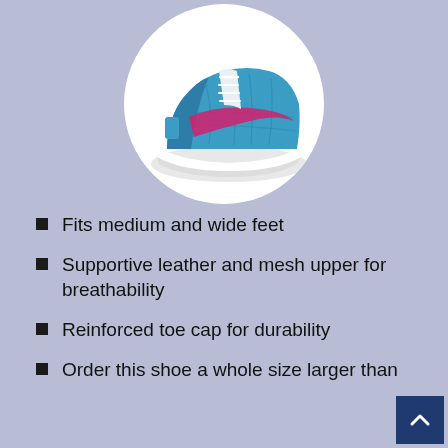[Figure (photo): Blue and pink Saucony running shoe displayed in a white circle on a lavender/blue-gray background]
Fits medium and wide feet
Supportive leather and mesh upper for breathability
Reinforced toe cap for durability
Order this shoe a whole size larger than your child's current foot size